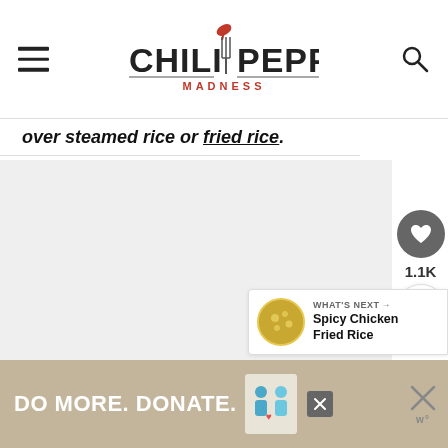Chili Pepper Madness - navigation header with hamburger menu and search icon
over steamed rice or fried rice.
[Figure (other): Large content image area (light gray placeholder)]
[Figure (other): Heart/like button showing 1.1K count and share button on right side]
WHAT'S NEXT → Spicy Chicken Fried Rice
[Figure (infographic): Advertisement banner: DO MORE. DONATE. with illustration of two people]